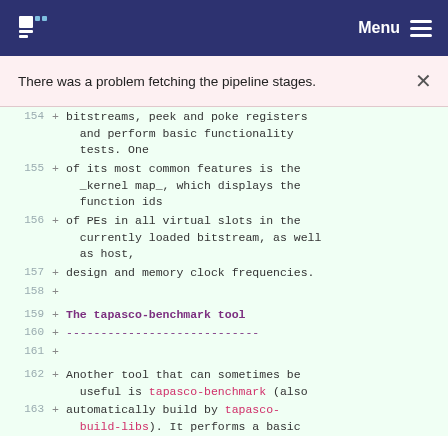Menu
There was a problem fetching the pipeline stages.
154 + bitstreams, peek and poke registers and perform basic functionality tests. One
155 + of its most common features is the _kernel map_, which displays the function ids
156 + of PEs in all virtual slots in the currently loaded bitstream, as well as host,
157 + design and memory clock frequencies.
158 +
159 + The tapasco-benchmark tool
160 + ----------------------------
161 +
162 + Another tool that can sometimes be useful is `tapasco-benchmark` (also
163 + automatically build by `tapasco-build-libs`). It performs a basic